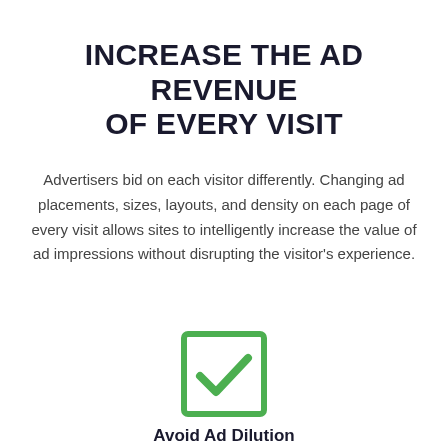INCREASE THE AD REVENUE OF EVERY VISIT
Advertisers bid on each visitor differently. Changing ad placements, sizes, layouts, and density on each page of every visit allows sites to intelligently increase the value of ad impressions without disrupting the visitor's experience.
[Figure (illustration): A green-bordered checkbox with a green checkmark inside]
Avoid Ad Dilution